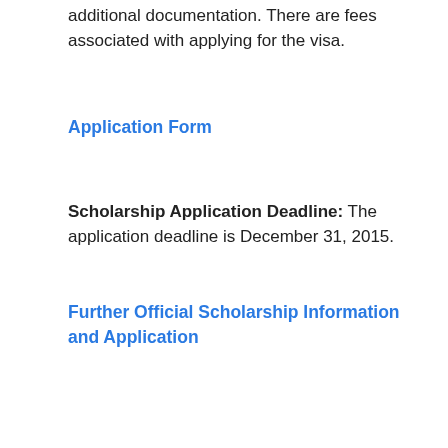additional documentation. There are fees associated with applying for the visa.
Application Form
Scholarship Application Deadline: The application deadline is December 31, 2015.
Further Official Scholarship Information and Application